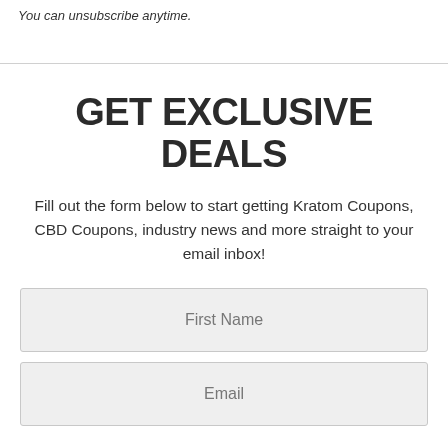You can unsubscribe anytime.
GET EXCLUSIVE DEALS
Fill out the form below to start getting Kratom Coupons, CBD Coupons, industry news and more straight to your email inbox!
First Name
Email